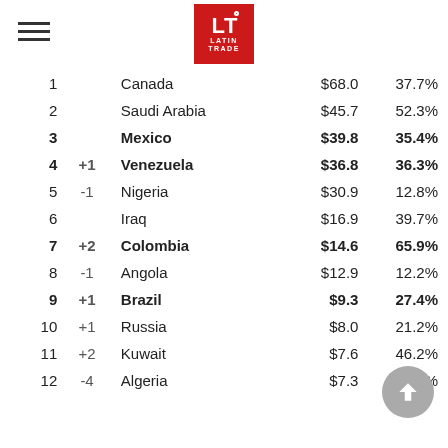Latin Trade logo with hamburger menu
| Rank | Change | Country | Value | Percent |
| --- | --- | --- | --- | --- |
| 1 |  | Canada | $68.0 | 37.7% |
| 2 |  | Saudi Arabia | $45.7 | 52.3% |
| 3 |  | Mexico | $39.8 | 35.4% |
| 4 | +1 | Venezuela | $36.8 | 36.3% |
| 5 | -1 | Nigeria | $30.9 | 12.8% |
| 6 |  | Iraq | $16.9 | 39.7% |
| 7 | +2 | Colombia | $14.6 | 65.9% |
| 8 | -1 | Angola | $12.9 | 12.2% |
| 9 | +1 | Brazil | $9.3 | 27.4% |
| 10 | +1 | Russia | $8.0 | 21.2% |
| 11 | +2 | Kuwait | $7.6 | 46.2% |
| 12 | -4 | Algeria | $7.3 | -23.2% |